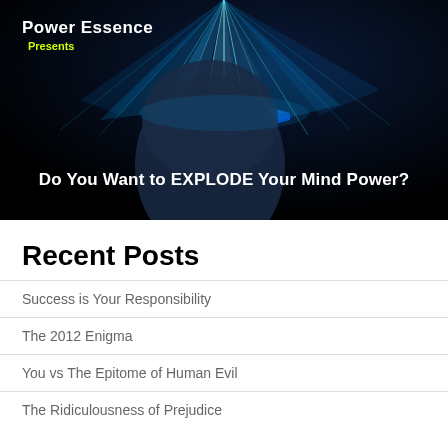[Figure (illustration): Dark banner image showing a futuristic human head silhouette with a glowing blue digital/circuit board element above and light rays emanating upward. Text overlay reads 'Power Essence Presents' in top left, and 'Do You Want to EXPLODE Your Mind Power?' in white bold text at the bottom.]
Recent Posts
Success is Your Responsibility
The 2012 Enigma
You vs The Epitome of Human Evil
The Ridiculousness of Prejudice